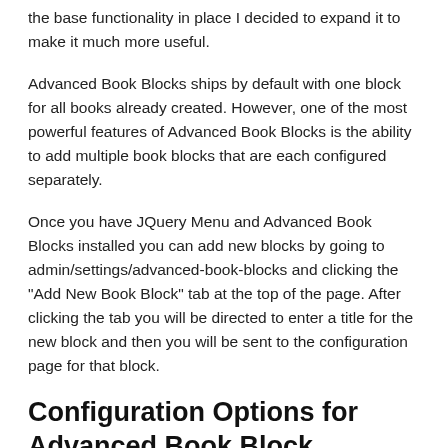the base functionality in place I decided to expand it to make it much more useful.
Advanced Book Blocks ships by default with one block for all books already created. However, one of the most powerful features of Advanced Book Blocks is the ability to add multiple book blocks that are each configured separately.
Once you have JQuery Menu and Advanced Book Blocks installed you can add new blocks by going to admin/settings/advanced-book-blocks and clicking the "Add New Book Block" tab at the top of the page. After clicking the tab you will be directed to enter a title for the new block and then you will be sent to the configuration page for that block.
Configuration Options for Advanced Book Block